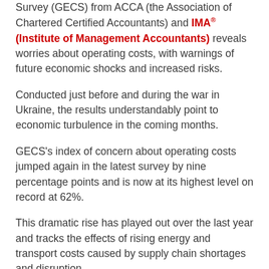Survey (GECS) from ACCA (the Association of Chartered Certified Accountants) and IMA® (Institute of Management Accountants) reveals worries about operating costs, with warnings of future economic shocks and increased risks.
Conducted just before and during the war in Ukraine, the results understandably point to economic turbulence in the coming months.
GECS's index of concern about operating costs jumped again in the latest survey by nine percentage points and is now at its highest level on record at 62%.
This dramatic rise has played out over the last year and tracks the effects of rising energy and transport costs caused by supply chain shortages and disruption.
In the Q1 survey, global confidence and global orders